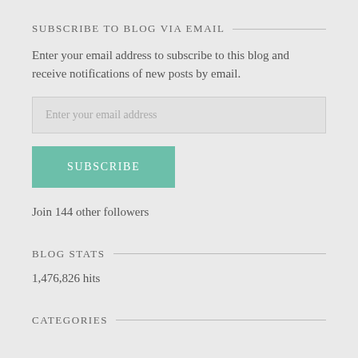SUBSCRIBE TO BLOG VIA EMAIL
Enter your email address to subscribe to this blog and receive notifications of new posts by email.
Enter your email address
SUBSCRIBE
Join 144 other followers
BLOG STATS
1,476,826 hits
CATEGORIES